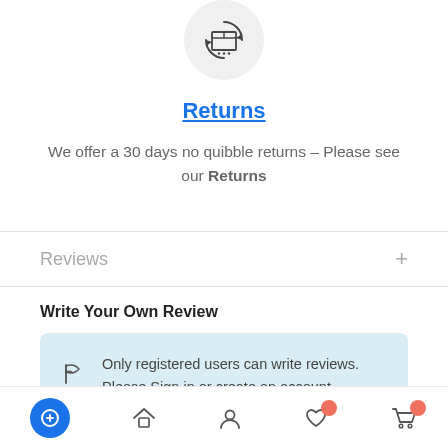[Figure (illustration): Returns icon: a box with circular arrows around it inside a light gray circle]
Returns (link)
We offer a 30 days no quibble returns – Please see our Returns
Reviews
Write Your Own Review
Only registered users can write reviews. Please Sign in or create an account.
Navigation bar with chat, home, account, wishlist, and cart icons